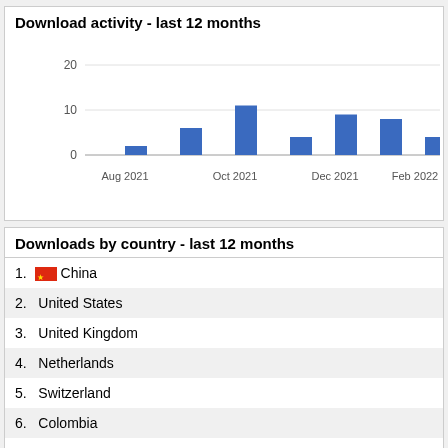Download activity - last 12 months
[Figure (bar-chart): Download activity - last 12 months]
Downloads by country - last 12 months
1.  China
2.  United States
3.  United Kingdom
4.  Netherlands
5.  Switzerland
6.  Colombia
7.  Japan